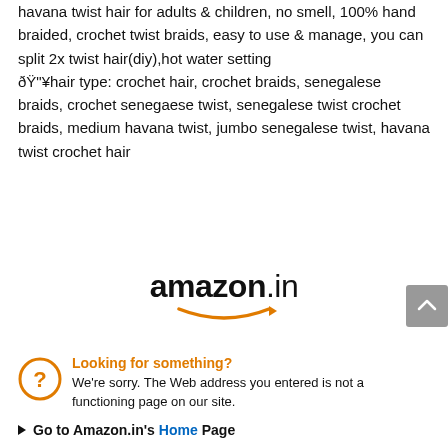havana twist hair for adults & children, no smell, 100% hand braided, crochet twist braids, easy to use & manage, you can split 2x twist hair(diy),hot water setting
🔥hair type: crochet hair, crochet braids, senegalese braids, crochet senegaese twist, senegalese twist crochet braids, medium havana twist, jumbo senegalese twist, havana twist crochet hair
[Figure (logo): Amazon.in logo with orange arrow smile underneath]
Looking for something?
We're sorry. The Web address you entered is not a functioning page on our site.
▶ Go to Amazon.in's Home Page